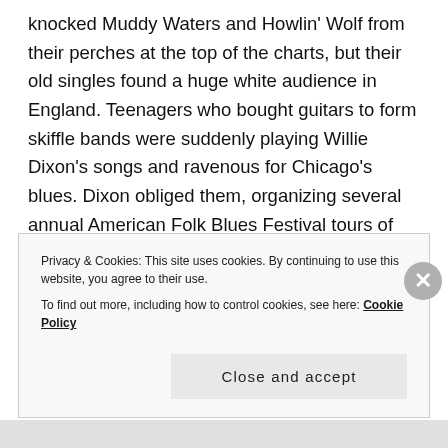knocked Muddy Waters and Howlin' Wolf from their perches at the top of the charts, but their old singles found a huge white audience in England. Teenagers who bought guitars to form skiffle bands were suddenly playing Willie Dixon's songs and ravenous for Chicago's blues. Dixon obliged them, organizing several annual American Folk Blues Festival tours of Europe. In return, the British Invasion bands brought Chess music back to America with them, introducing white America to the music its dark-skinned brothers and sisters had been enjoying decades. Waters, Wolf and the rest of the Chess stable were suddenly pulled
Privacy & Cookies: This site uses cookies. By continuing to use this website, you agree to their use.
To find out more, including how to control cookies, see here: Cookie Policy
Close and accept